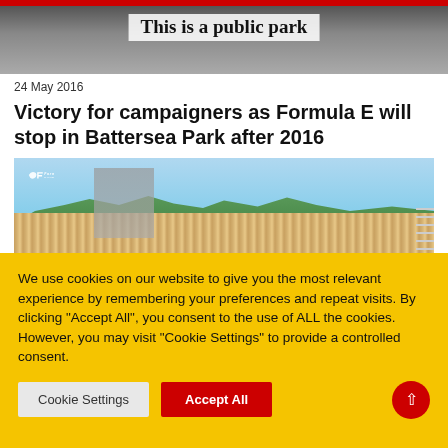[Figure (photo): Top banner photo showing a sign reading 'This is a public park' with dark background]
24 May 2016
Victory for campaigners as Formula E will stop in Battersea Park after 2016
[Figure (photo): Formula E race track photo showing scaffolding, trees, crowds, fence and Formula E championship logo]
We use cookies on our website to give you the most relevant experience by remembering your preferences and repeat visits. By clicking "Accept All", you consent to the use of ALL the cookies. However, you may visit "Cookie Settings" to provide a controlled consent.